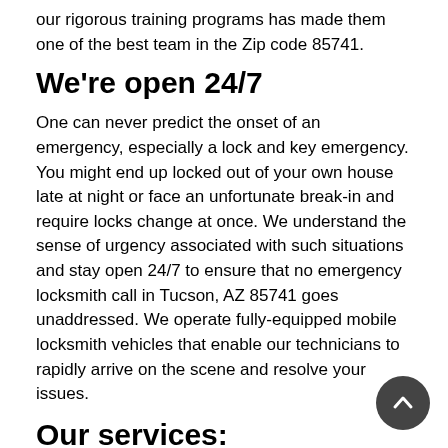our rigorous training programs has made them one of the best team in the Zip code 85741.
We're open 24/7
One can never predict the onset of an emergency, especially a lock and key emergency. You might end up locked out of your own house late at night or face an unfortunate break-in and require locks change at once. We understand the sense of urgency associated with such situations and stay open 24/7 to ensure that no emergency locksmith call in Tucson, AZ 85741 goes unaddressed. We operate fully-equipped mobile locksmith vehicles that enable our technicians to rapidly arrive on the scene and resolve your issues.
Our services:
All Day Locksmith Service provides lock and locksmith services to the automotive sector and residential clients apart from addressing critical challenges that commercial